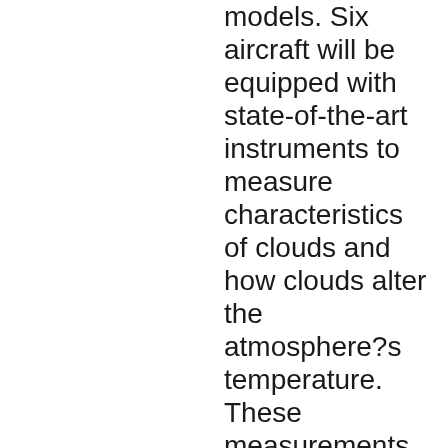models. Six aircraft will be equipped with state-of-the-art instruments to measure characteristics of clouds and how clouds alter the atmosphere?s temperature. These measurements will be compared with ground based radars, satellites, and the results of advanced atmospheric models, in order to improve our ability to forecast future climate change. This large multi-agency experiment will unite seven NASA centers, NOAA, National Science Foundation, Department of Energy, Office of Naval Research, U.S. Weather Research